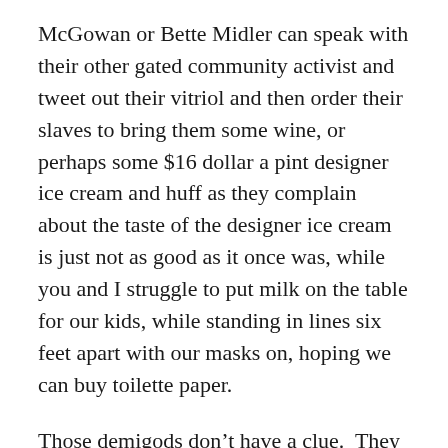McGowan or Bette Midler can speak with their other gated community activist and tweet out their vitriol and then order their slaves to bring them some wine, or perhaps some $16 dollar a pint designer ice cream and huff as they complain about the taste of the designer ice cream is just not as good as it once was, while you and I struggle to put milk on the table for our kids, while standing in lines six feet apart with our masks on, hoping we can buy toilette paper.
Those demigods don’t have a clue.  They are the ‘let them eat cake folks.’ Many of you follow them on twitter as if they are your friend.  You feel like you know them.  Trust me,